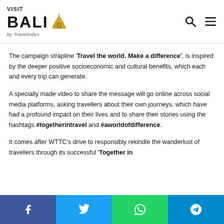[Figure (logo): Visit Bali by Travelindex logo with golden temple icon, search icon and hamburger menu icon]
The campaign strapline 'Travel the world. Make a difference', is inspired by the deeper positive socioeconomic and cultural benefits, which each and every trip can generate.
A specially made video to share the message will go online across social media platforms, asking travellers about their own journeys, which have had a profound impact on their lives and to share their stories using the hashtags #togetherintravel and #aworldofdifference.
It comes after WTTC's drive to responsibly rekindle the wanderlust of travellers through its successful 'Together in
[Figure (infographic): Social share bar with Facebook, Twitter, WhatsApp, and Telegram buttons]